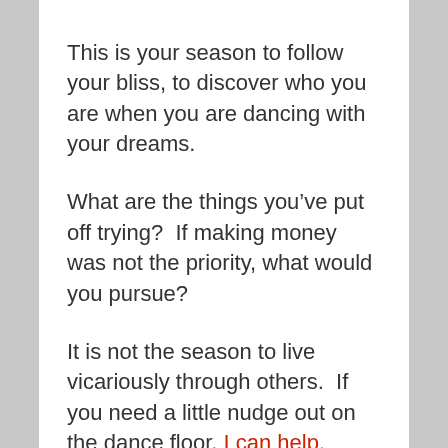This is your season to follow your bliss, to discover who you are when you are dancing with your dreams.
What are the things you've put off trying?  If making money was not the priority, what would you pursue?
It is not the season to live vicariously through others.  If you need a little nudge out on the dance floor, I can help.